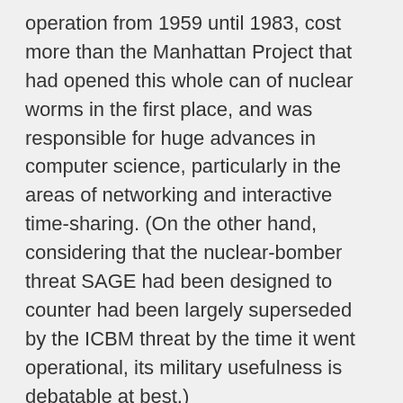operation from 1959 until 1983, cost more than the Manhattan Project that had opened this whole can of nuclear worms in the first place, and was responsible for huge advances in computer science, particularly in the areas of networking and interactive time-sharing. (On the other hand, considering that the nuclear-bomber threat SAGE had been designed to counter had been largely superseded by the ICBM threat by the time it went operational, its military usefulness is debatable at best.)
During the 1950s most people, including even many of the engineers and early programmers who worked on them, saw computers as essentially huge calculators. You fed in some numbers at one end and got some others out at the other, whether they be the correct trajectory settings for a piece of artillery to hit some target or other or the current balances of a million bank customers. As he